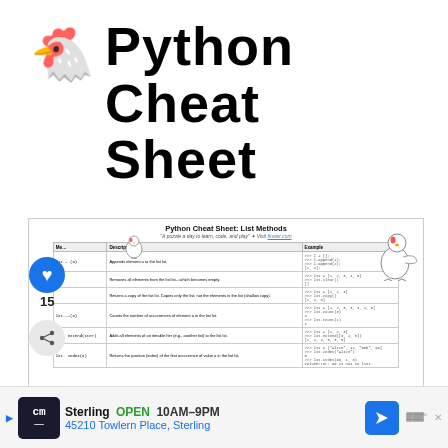🐔 Python Cheat Sheet
[Figure (screenshot): Screenshot of a Python Cheat Sheet: List Methods page with a table showing method names, descriptions, and examples. Includes chicken/rooster illustrations. Partially obscured by social media overlay buttons (heart/like button with count 15, share button).]
15
[Figure (infographic): Advertisement banner: CM logo, Sterling OPEN 10AM-9PM, 45210 Towlern Place, Sterling, with navigation icon and Waze icon.]